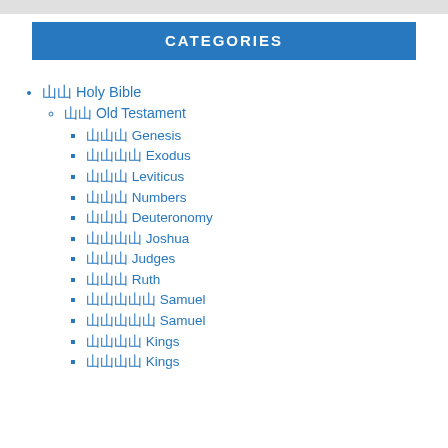CATEGORIES
🀄🀄 Holy Bible
🀄🀄 Old Testament
🀄🀄🀄 Genesis
🀄🀄🀄🀄 Exodus
🀄🀄🀄 Leviticus
🀄🀄🀄 Numbers
🀄🀄🀄 Deuteronomy
🀄🀄🀄🀄 Joshua
🀄🀄🀄 Judges
🀄🀄🀄 Ruth
🀄🀄🀄🀄🀄 Samuel
🀄🀄🀄🀄🀄 Samuel
🀄🀄🀄🀄 Kings
🀄🀄🀄🀄 Kings